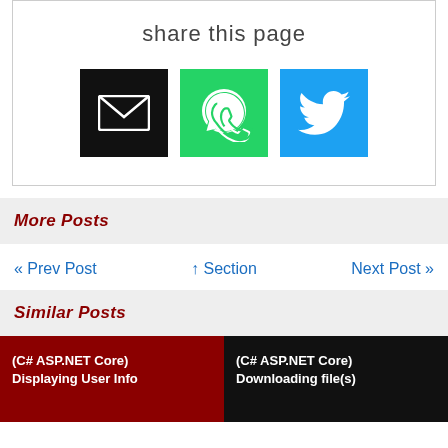share this page
[Figure (infographic): Three share buttons: black email icon, green WhatsApp icon, blue Twitter bird icon]
More Posts
« Prev Post   ↑ Section   Next Post »
Similar Posts
[Figure (infographic): Two post thumbnails side by side: left is dark red with text '(C# ASP.NET Core) Displaying User Info', right is black with text '(C# ASP.NET Core) Downloading file(s)']